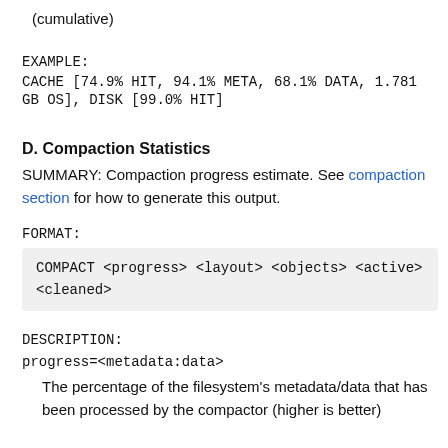(cumulative)
EXAMPLE:
CACHE [74.9% HIT, 94.1% META, 68.1% DATA, 1.781 GB OS], DISK [99.0% HIT]
D. Compaction Statistics
SUMMARY: Compaction progress estimate. See compaction section for how to generate this output.
FORMAT:
COMPACT <progress> <layout> <objects> <active> <cleaned>
DESCRIPTION:
progress=<metadata:data>
The percentage of the filesystem's metadata/data that has been processed by the compactor (higher is better)